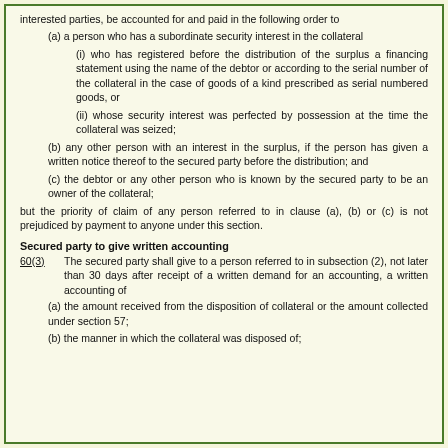interested parties, be accounted for and paid in the following order to
(a) a person who has a subordinate security interest in the collateral
(i) who has registered before the distribution of the surplus a financing statement using the name of the debtor or according to the serial number of the collateral in the case of goods of a kind prescribed as serial numbered goods, or
(ii) whose security interest was perfected by possession at the time the collateral was seized;
(b) any other person with an interest in the surplus, if the person has given a written notice thereof to the secured party before the distribution; and
(c) the debtor or any other person who is known by the secured party to be an owner of the collateral;
but the priority of claim of any person referred to in clause (a), (b) or (c) is not prejudiced by payment to anyone under this section.
Secured party to give written accounting
60(3)      The secured party shall give to a person referred to in subsection (2), not later than 30 days after receipt of a written demand for an accounting, a written accounting of
(a) the amount received from the disposition of collateral or the amount collected under section 57;
(b) the manner in which the collateral was disposed of;